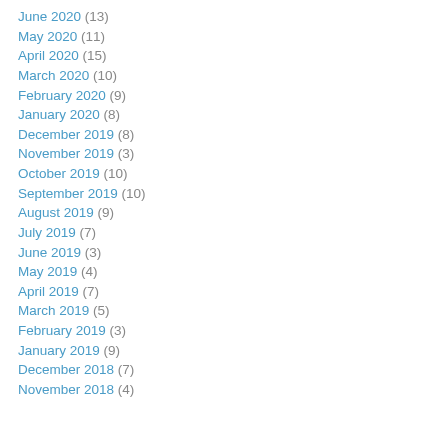June 2020 (13)
May 2020 (11)
April 2020 (15)
March 2020 (10)
February 2020 (9)
January 2020 (8)
December 2019 (8)
November 2019 (3)
October 2019 (10)
September 2019 (10)
August 2019 (9)
July 2019 (7)
June 2019 (3)
May 2019 (4)
April 2019 (7)
March 2019 (5)
February 2019 (3)
January 2019 (9)
December 2018 (7)
November 2018 (4)